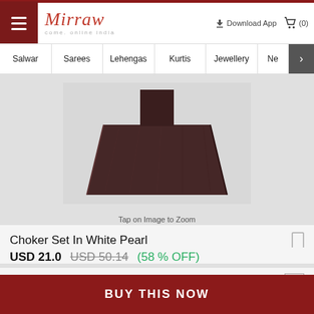Mirraw — come, online india | Download App | Cart (0)
Salwar | Sarees | Lehengas | Kurtis | Jewellery | Ne >
[Figure (photo): Product photo of a dark brown jewelry display stand/box on a light background]
Tap on Image to Zoom
Choker Set In White Pearl
USD 21.0  USD 50.14  (58 % OFF)
Available Offers :  [-]
100% cashback   T&C
BUY THIS NOW